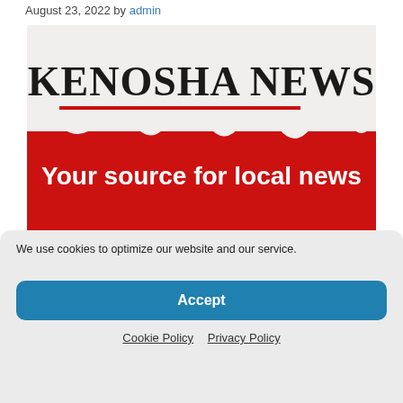August 23, 2022 by admin
[Figure (logo): Kenosha News logo banner with text 'Your source for local news' on a red background with torn paper effect]
We use cookies to optimize our website and our service.
Accept
Cookie Policy  Privacy Policy